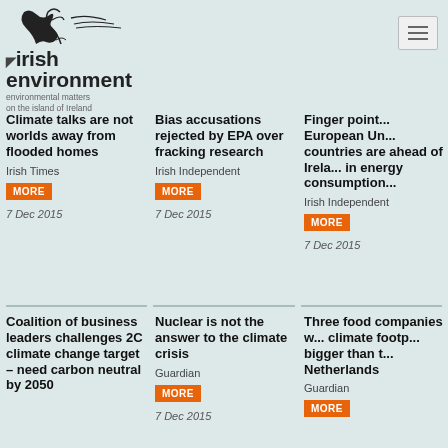irish environment – environmental matters on the island of Ireland
Climate talks are not worlds away from flooded homes
Irish Times
MORE
7 Dec 2015
Bias accusations rejected by EPA over fracking research
Irish Independent
MORE
7 Dec 2015
Finger pointing: European Union countries are ahead of Ireland in energy consumption
Irish Independent
MORE
7 Dec 2015
Coalition of business leaders challenges 2C climate change target – need carbon neutral by 2050
Nuclear is not the answer to the climate crisis
Guardian
MORE
7 Dec 2015
Three food companies with climate footprint bigger than the Netherlands
Guardian
MORE